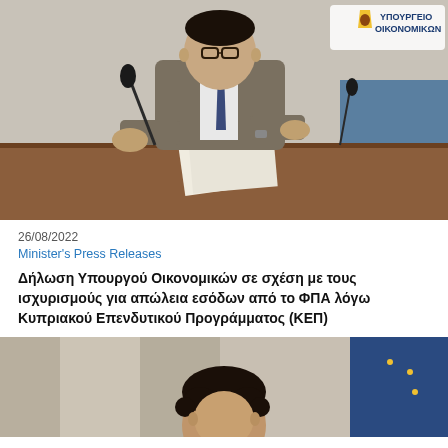[Figure (photo): A man in a suit sitting at a desk with a microphone, reading papers at a press conference. A Cyprus government logo (ΥΠΟΥΡΓΕΙΟ ΟΙΚΟΝΟΜΙΚΩΝ) is visible in the top right corner.]
26/08/2022
Minister's Press Releases
Δήλωση Υπουργού Οικονομικών σε σχέση με τους ισχυρισμούς για απώλεια εσόδων από το ΦΠΑ λόγω Κυπριακού Επενδυτικού Προγράμματος (ΚΕΠ)
[Figure (photo): A second photo showing a man with dark curly hair, partially visible, appears to be at a podium or press setting.]